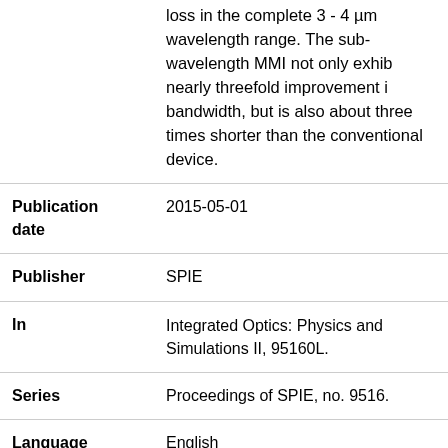| Field | Value |
| --- | --- |
|  | loss in the complete 3 - 4 µm wavelength range. The sub-wavelength MMI not only exhibits nearly threefold improvement in bandwidth, but is also about three times shorter than the conventional device. |
| Publication date | 2015-05-01 |
| Publisher | SPIE |
| In | Integrated Optics: Physics and Simulations II, 95160L. |
| Series | Proceedings of SPIE, no. 9516. |
| Language | English |